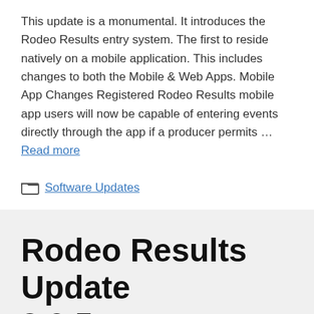This update is a monumental. It introduces the Rodeo Results entry system. The first to reside natively on a mobile application. This includes changes to both the Mobile & Web Apps. Mobile App Changes Registered Rodeo Results mobile app users will now be capable of entering events directly through the app if a producer permits … Read more
Software Updates
Rodeo Results Update 3.0.5